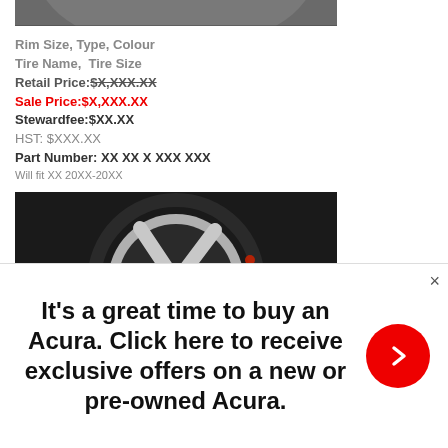[Figure (photo): Top portion of a car wheel/rim, partially cropped]
Rim Size, Type, Colour
Tire Name,  Tire Size
Retail Price: $X,XXX.XX (strikethrough)
Sale Price:$X,XXX.XX
Stewardfee:$XX.XX
HST: $XXX.XX
Part Number: XX XX X XXX XXX
Will fit XX 20XX-20XX
[Figure (photo): Car alloy wheel with black and silver finish mounted with tire]
It's a great time to buy an Acura. Click here to receive exclusive offers on a new or pre-owned Acura.